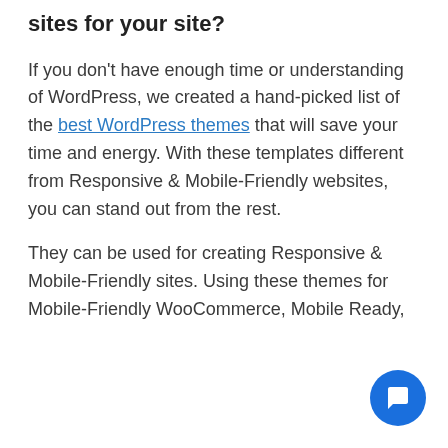sites for your site?
If you don't have enough time or understanding of WordPress, we created a hand-picked list of the best WordPress themes that will save your time and energy. With these templates different from Responsive & Mobile-Friendly websites, you can stand out from the rest.
They can be used for creating Responsive & Mobile-Friendly sites. Using these themes for Mobile-Friendly WooCommerce, Mobile Ready,